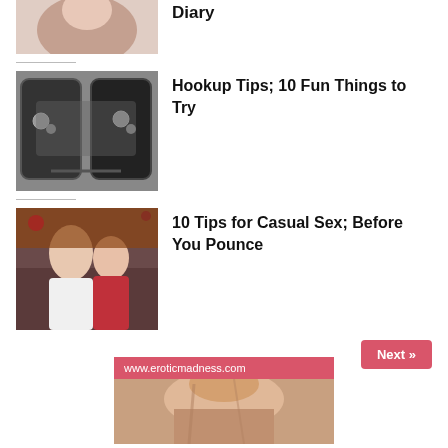[Figure (photo): Partial view of a woman lying on white bedding (cropped top row)]
Diary
[Figure (photo): Black leather handcuffs on a light background]
Hookup Tips; 10 Fun Things to Try
[Figure (photo): Couple in romantic pose, man in white shirt, woman in red dress]
10 Tips for Casual Sex; Before You Pounce
Next »
www.eroticmadness.com
[Figure (photo): Partial image of a woman with blonde hair (footer ad)]